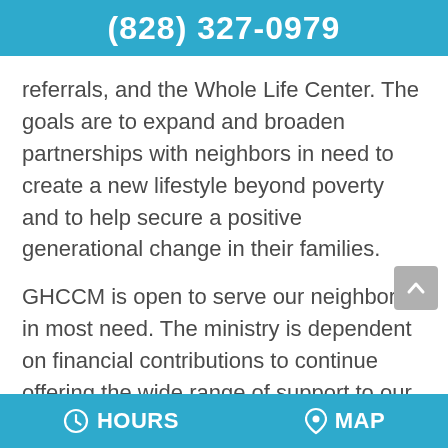(828) 327-0979
referrals, and the Whole Life Center. The goals are to expand and broaden partnerships with neighbors in need to create a new lifestyle beyond poverty and to help secure a positive generational change in their families.
GHCCM is open to serve our neighbors in most need. The ministry is dependent on financial contributions to continue offering the wide range of support to our neighbors. It is the goal of GHCCM to work together to offer stability to those in crisis. For the current schedule, ministries offered and for making a donation, visit our website
HOURS   MAP